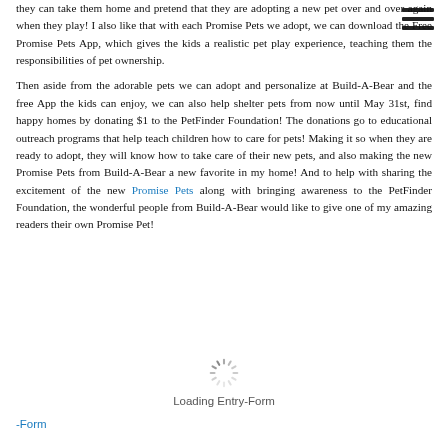they can take them home and pretend that they are adopting a new pet over and over again when they play! I also like that with each Promise Pets we adopt, we can download the Free Promise Pets App, which gives the kids a realistic pet play experience, teaching them the responsibilities of pet ownership.
Then aside from the adorable pets we can adopt and personalize at Build-A-Bear and the free App the kids can enjoy, we can also help shelter pets from now until May 31st, find happy homes by donating $1 to the PetFinder Foundation! The donations go to educational outreach programs that help teach children how to care for pets! Making it so when they are ready to adopt, they will know how to take care of their new pets, and also making the new Promise Pets from Build-A-Bear a new favorite in my home! And to help with sharing the excitement of the new Promise Pets along with bringing awareness to the PetFinder Foundation, the wonderful people from Build-A-Bear would like to give one of my amazing readers their own Promise Pet!
[Figure (other): Loading spinner icon with 'Loading Entry-Form' text below it]
-Form